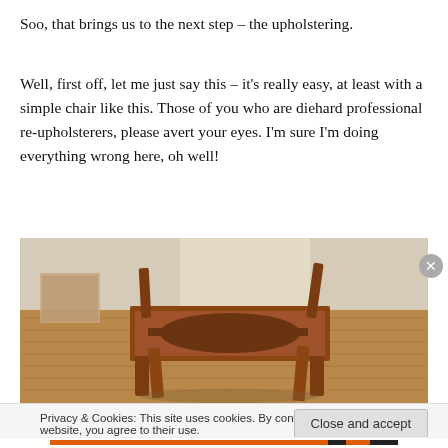Soo, that brings us to the next step – the upholstering.
Well, first off, let me just say this – it's really easy, at least with a simple chair like this. Those of you who are diehard professional re-upholsterers, please avert your eyes. I'm sure I'm doing everything wrong here, oh well!
[Figure (photo): Photo of a wooden chair frame upside down on a hardwood floor, showing the seat frame structure without upholstery, with furniture visible in the background.]
Privacy & Cookies: This site uses cookies. By continuing to use this website, you agree to their use.
To find out more, including how to control cookies, see here: Cookie Policy